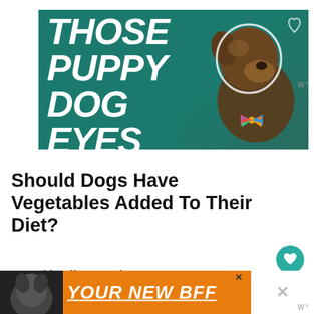[Figure (photo): Advertisement banner with teal/dark green background showing large bold italic white text reading THOSE PUPPY DOG EYES with a photo of a brindle dog wearing a colorful bowtie on the right side]
Should Dogs Have Vegetables Added To Their Diet?
Dogs, like all mammals, require a certain amount of nutrients they may not be getting from other sources. Kibble-fed dogs, for
[Figure (infographic): Bottom advertisement banner with orange background showing a dog photo on the left and bold italic white underlined text YOUR NEW BFF]